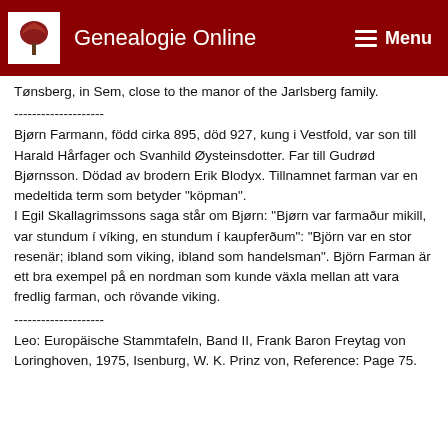Genealogie Online  Menu
Tønsberg, in Sem, close to the manor of the Jarlsberg family.
--------------------
Bjørn Farmann, född cirka 895, död 927, kung i Vestfold, var son till Harald Hårfager och Svanhild Øysteinsdotter. Far till Gudrød Bjørnsson. Dödad av brodern Erik Blodyx. Tillnamnet farman var en medeltida term som betyder "köpman". I Egil Skallagrimssons saga står om Bjørn: "Bjørn var farmaður mikill, var stundum í víking, en stundum í kaupferðum": "Björn var en stor resenär; ibland som viking, ibland som handelsman". Björn Farman är ett bra exempel på en nordman som kunde växla mellan att vara fredlig farman, och rövande viking.
--------------------
Leo: Europäische Stammtafeln, Band II, Frank Baron Freytag von Loringhoven, 1975, Isenburg, W. K. Prinz von, Reference: Page 75.